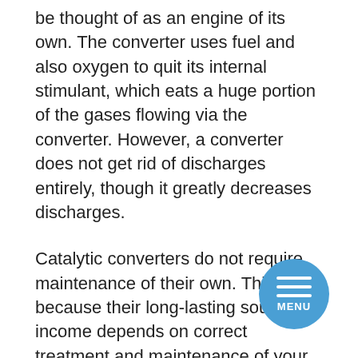be thought of as an engine of its own. The converter uses fuel and also oxygen to quit its internal stimulant, which eats a huge portion of the gases flowing via the converter. However, a converter does not get rid of discharges entirely, though it greatly decreases discharges.
Catalytic converters do not require maintenance of their own. This is because their long-lasting source of income depends on correct treatment and maintenance of your vehicle. As an example, if your vehicle begins to run harsh, creates smoke from the tailpipe, or the “service engine soon” or “ inspect engine” light appears, have it checked out right away by a specialist technician. This is specifically real if those stated lights flash rather than being continuously lit. Considering granted these warning signs may trigger costly damages to the converter, thus, needing substitute. Symptoms of a faulty or